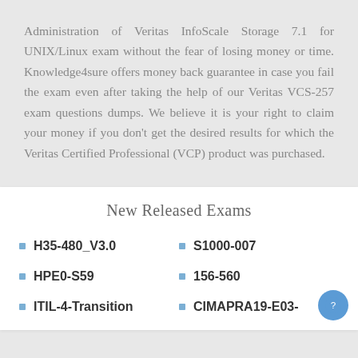Administration of Veritas InfoScale Storage 7.1 for UNIX/Linux exam without the fear of losing money or time. Knowledge4sure offers money back guarantee in case you fail the exam even after taking the help of our Veritas VCS-257 exam questions dumps. We believe it is your right to claim your money if you don't get the desired results for which the Veritas Certified Professional (VCP) product was purchased.
New Released Exams
H35-480_V3.0
S1000-007
HPE0-S59
156-560
ITIL-4-Transition
CIMAPRA19-E03-